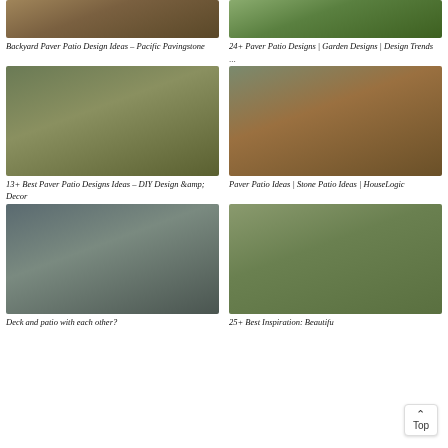[Figure (photo): Backyard paver patio photo (top cropped)]
Backyard Paver Patio Design Ideas – Pacific Pavingstone
[Figure (photo): Paver patio garden photo (top cropped)]
24+ Paver Patio Designs | Garden Designs | Design Trends
...
[Figure (photo): Large stamped concrete paver patio with outdoor seating area]
13+ Best Paver Patio Designs Ideas – DIY Design &amp; Decor
[Figure (photo): Brick paver patio with steps and garden by a house]
Paver Patio Ideas | Stone Patio Ideas | HouseLogic
[Figure (photo): Deck and patio combination with octagonal stone paver area]
Deck and patio with each other?
[Figure (photo): Beautiful circular paver patio with fire pit and outdoor seating]
25+ Best Inspiration: Beautiful